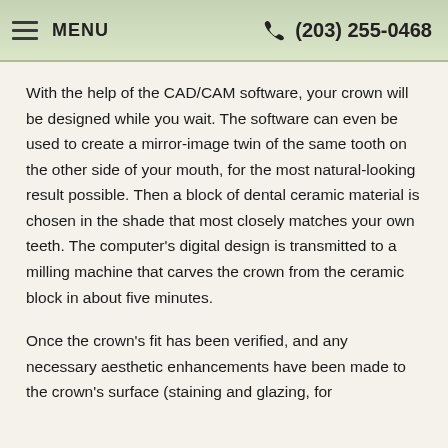MENU   (203) 255-0468
With the help of the CAD/CAM software, your crown will be designed while you wait. The software can even be used to create a mirror-image twin of the same tooth on the other side of your mouth, for the most natural-looking result possible. Then a block of dental ceramic material is chosen in the shade that most closely matches your own teeth. The computer's digital design is transmitted to a milling machine that carves the crown from the ceramic block in about five minutes.
Once the crown's fit has been verified, and any necessary aesthetic enhancements have been made to the crown's surface (staining and glazing, for